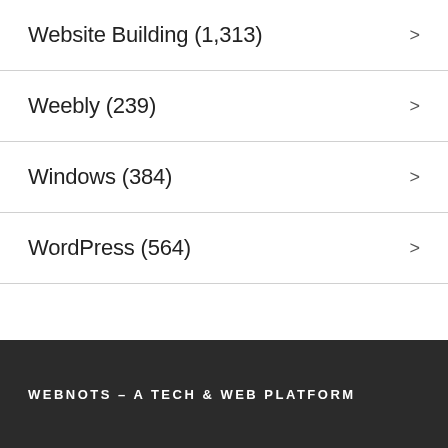Website Building (1,313)
Weebly (239)
Windows (384)
WordPress (564)
WEBNOTS – A TECH & WEB PLATFORM